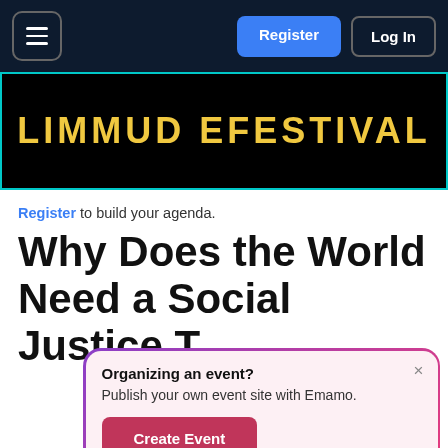Navigation bar with menu icon, Register button, and Log In button
[Figure (illustration): Limmud eFestival banner with neon-style glowing golden text on black background with teal border]
Register to build your agenda.
Why Does the World Need a Social Justice T…
Organizing an event? Publish your own event site with Emamo. Create Event